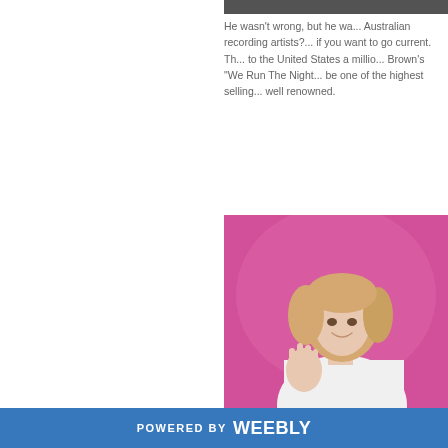[Figure (photo): Partial top edge of a dark photo visible at top right]
He wasn't wrong, but he wa... Australian recording artists?... if you want to go current. Th... to the United States a millio... Brown's "We Run The Night... be one of the highest selling... well renowned.
[Figure (photo): Woman with blonde hair smiling against a pink/magenta background, wearing a white top, with hand raised]
POWERED BY weebly